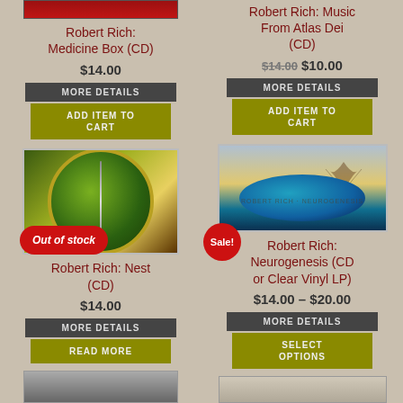[Figure (photo): Album cover top of left column (partial, red/dark)]
Robert Rich: Medicine Box (CD)
$14.00
MORE DETAILS
ADD ITEM TO CART
Robert Rich: Music From Atlas Dei (CD)
$14.00 $10.00
MORE DETAILS
ADD ITEM TO CART
Out of stock
[Figure (photo): Album cover: Robert Rich Nest CD - green circular eye-like image]
Sale!
[Figure (photo): Album cover: Robert Rich Neurogenesis - atmospheric landscape with planet]
Robert Rich: Nest (CD)
$14.00
MORE DETAILS
READ MORE
Robert Rich: Neurogenesis (CD or Clear Vinyl LP)
$14.00 – $20.00
MORE DETAILS
SELECT OPTIONS
[Figure (photo): Album cover bottom left (partial, grey/dark)]
[Figure (photo): Album cover bottom right (partial)]